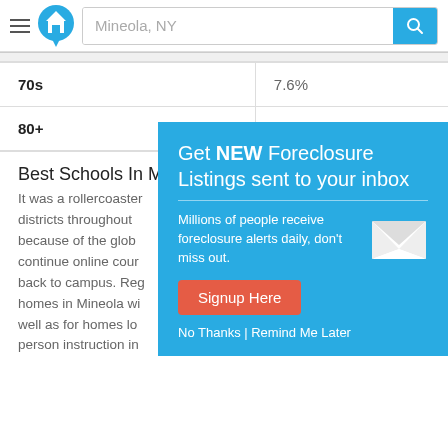Mineola, NY — search bar navigation header
| 70s | 7.6% |
| 80+ | 4.7% |
Best Schools In M...
It was a rollercoaster... districts throughout... because of the glob... continue online cour... back to campus. Reg... homes in Mineola wi... well as for homes lo... person instruction in...
[Figure (infographic): Popup modal with teal background: 'Get NEW Foreclosure Listings sent to your inbox'. Text: 'Millions of people receive foreclosure alerts daily, don't miss out.' Red 'Signup Here' button. Envelope icon. Links: 'No Thanks | Remind Me Later']
Pros And Cons Of Living In Mineola, New York